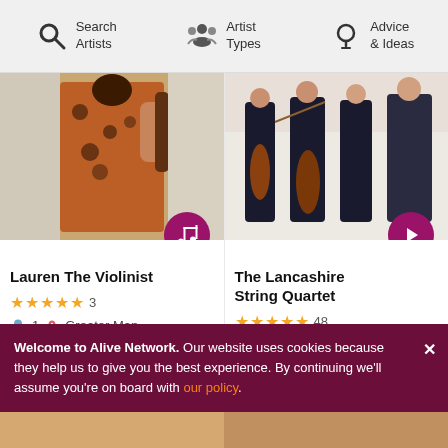Search Artists | Artist Types | Advice & Ideas
[Figure (photo): Photo of Lauren The Violinist in orange floral dress holding a violin, with a music note badge icon]
Lauren The Violinist
★★★★★ 3
1  Greater Man...
A professionally trained electric & acoustic violinist, Lauren special...
From £513
Fee for West Yorkshire
View Profile
[Figure (photo): Photo of The Lancashire String Quartet, musicians in formal wear holding string instruments, with a play button badge icon]
The Lancashire String Quartet
★★★★★ 48
4  Lancashire
Offering a professional service, tailore...
From £621
Fee for West Yorkshire
View Profile
Welcome to Alive Network. Our website uses cookies because they help us to give you the best experience. By continuing we'll assume you're on board with our policy.